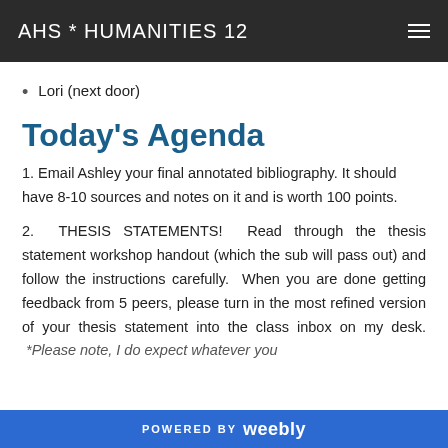AHS * HUMANITIES 12
Lori (next door)
Today's Agenda
1. Email Ashley your final annotated bibliography. It should have 8-10 sources and notes on it and is worth 100 points.
2. THESIS STATEMENTS! Read through the thesis statement workshop handout (which the sub will pass out) and follow the instructions carefully. When you are done getting feedback from 5 peers, please turn in the most refined version of your thesis statement into the class inbox on my desk. *Please note, I do expect whatever you
POWERED BY weebly